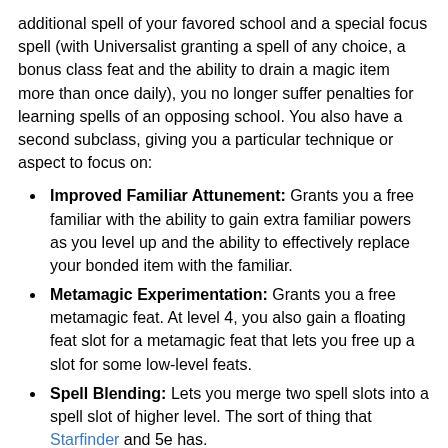additional spell of your favored school and a special focus spell (with Universalist granting a spell of any choice, a bonus class feat and the ability to drain a magic item more than once daily), you no longer suffer penalties for learning spells of an opposing school. You also have a second subclass, giving you a particular technique or aspect to focus on:
Improved Familiar Attunement: Grants you a free familiar with the ability to gain extra familiar powers as you level up and the ability to effectively replace your bonded item with the familiar.
Metamagic Experimentation: Grants you a free metamagic feat. At level 4, you also gain a floating feat slot for a metamagic feat that lets you free up a slot for some low-level feats.
Spell Blending: Lets you merge two spell slots into a spell slot of higher level. The sort of thing that Starfinder and 5e has.
Spell Substitution: Lets you swap out a spell slot for another spell in that same slot. For fun.